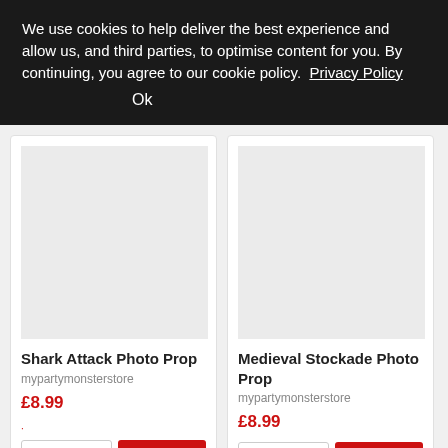We use cookies to help deliver the best experience and allow us, and third parties, to optimise content for you. By continuing, you agree to our cookie policy. Privacy Policy
Ok
Shark Attack Photo Prop
mypartymonsterstore
£8.99
Medieval Stockade Photo Prop
mypartymonsterstore
£8.99